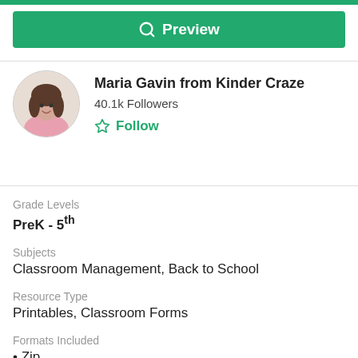[Figure (screenshot): Green top bar accent]
[Figure (screenshot): Green Preview button with search icon]
Maria Gavin from Kinder Craze
40.1k Followers
Follow
Grade Levels
PreK - 5th
Subjects
Classroom Management, Back to School
Resource Type
Printables, Classroom Forms
Formats Included
• Zip